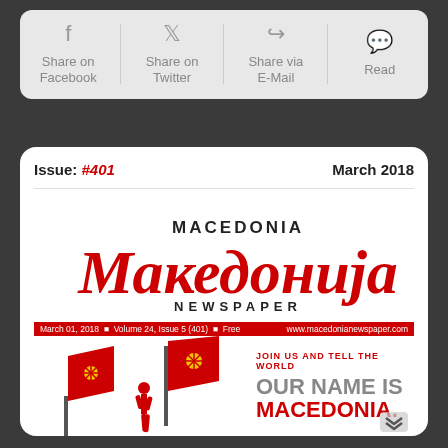[Figure (screenshot): Share bar with four buttons: Share on Facebook, Share on Twitter, Share via E-Mail, Read]
Issue: #401   March 2018
[Figure (screenshot): Macedonia Македонија Newspaper cover - March 01, 2018, Volume 24, Issue 5 (401), Free, www.macedonianewspaper.com. JOIN US AND TELL THE WORLD - OUR NAME IS MACEDONIA.]